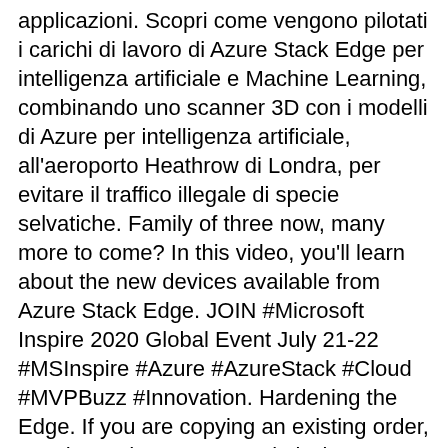applicazioni. Scopri come vengono pilotati i carichi di lavoro di Azure Stack Edge per intelligenza artificiale e Machine Learning, combinando uno scanner 3D con i modelli di Azure per intelligenza artificiale, all'aeroporto Heathrow di Londra, per evitare il traffico illegale di specie selvatiche. Family of three now, many more to come? In this video, you'll learn about the new devices available from Azure Stack Edge. JOIN #Microsoft Inspire 2020 Global Event July 21-22 #MSInspire #Azure #AzureStack #Cloud #MVPBuzz #Innovation. Hardening the Edge. If you are copying an existing order, use that order name. Restituisci l'appliance a Microsoft al termine del processo. Dispositivo a batteria resistente, sufficientemente piccolo per essere collocato in uno zaino, progettato per ambienti difficili e scenari senza connessione. Carica il set di dati completo o un subset nel cloud per ripetere il training dei modelli e rendere ancora più intelligenti i dispositivi perimetrali. It brings the power of the Azure cloud to a local and ruggedized server that can be deployed virtually anywhere local AI and advanced computing